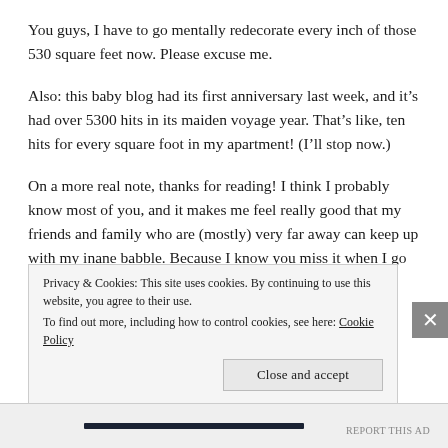You guys, I have to go mentally redecorate every inch of those 530 square feet now.  Please excuse me.
Also: this baby blog had its first anniversary last week, and it's had over 5300 hits in its maiden voyage year.  That's like, ten hits for every square foot in my apartment!  (I'll stop now.)
On a more real note, thanks for reading!  I think I probably know most of you, and it makes me feel really good that my friends and family who are (mostly) very far away can keep up with my inane babble.  Because I know you miss it when I go away.  Nobody likes quiet.  I'll try to keep it up and stop
Privacy & Cookies: This site uses cookies. By continuing to use this website, you agree to their use.
To find out more, including how to control cookies, see here: Cookie Policy
Close and accept